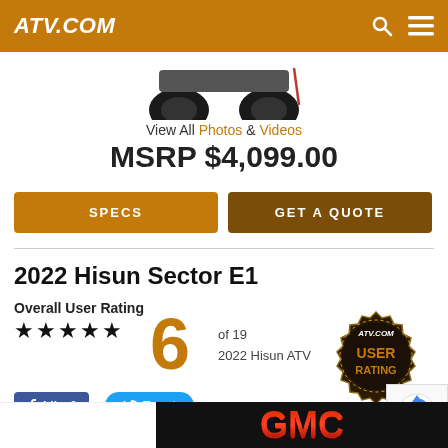ATV.COM
[Figure (photo): Partial view of ATV wheels/undercarriage from above]
View All Photos & Videos
MSRP $4,099.00
SPECS
GET A QUOTE
2022 Hisun Sector E1
Overall User Rating
★★★★★  6  of 19  2022 Hisun ATV
[Figure (logo): ATV.COM USER RATING badge seal]
Like 0
Tweet
[Figure (logo): GMC logo advertisement banner]
Privacy · Terms